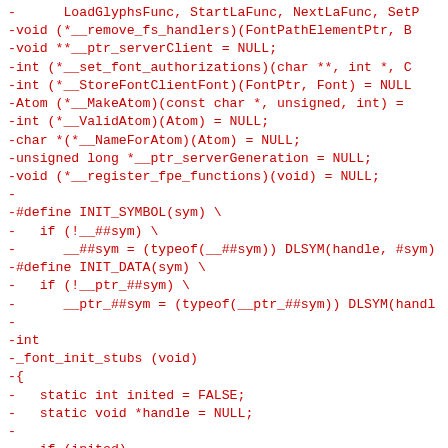Code diff showing removed lines (prefixed with -) including function pointers, macro definitions, and font initialization stub function in C source code.